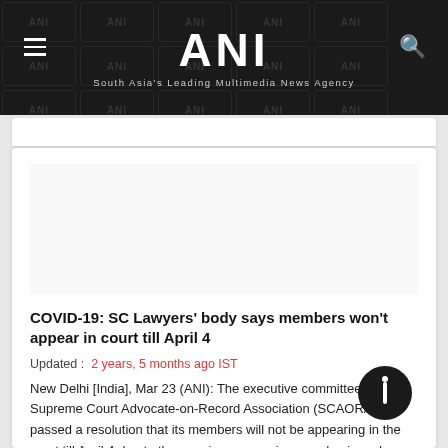ANI — South Asia's Leading Multimedia News Agency
COVID-19: SC Lawyers' body says members won't appear in court till April 4
Updated :  2 years, 5 months ago IST
New Delhi [India], Mar 23 (ANI): The executive committee of the Supreme Court Advocate-on-Record Association (SCAORA) has passed a resolution that its members will not be appearing in the court till April 4 due to the ongoing coronavirus pandemic and lockdowns in cities.
Read More